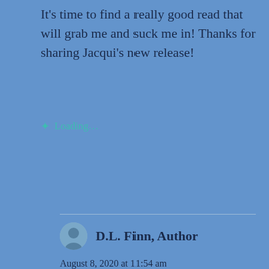It's time to find a really good read that will grab me and suck me in! Thanks for sharing Jacqui's new release!
Loading...
Reply
D.L. Finn, Author
August 8, 2020 at 11:54 am
I have been hitting 75 books a year, still haven't hit that elusive 100. Its amazing that Jacqui can read 200! I don't think I'd make it to chapter 7 if I didn't like a book. I usually